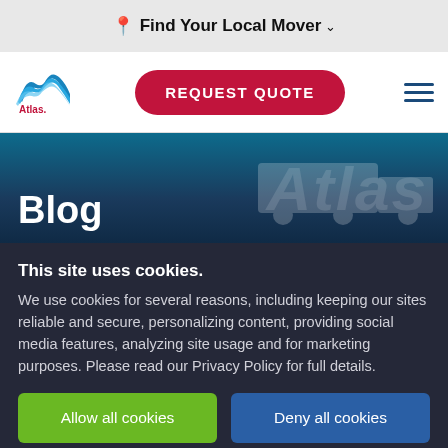Find Your Local Mover
[Figure (logo): Atlas Van Lines logo with blue mountain/wave icon and red 'Atlas.' wordmark]
REQUEST QUOTE
Blog
This site uses cookies.
We use cookies for several reasons, including keeping our sites reliable and secure, personalizing content, providing social media features, analyzing site usage and for marketing purposes. Please read our Privacy Policy for full details.
Allow all cookies
Deny all cookies
Settings